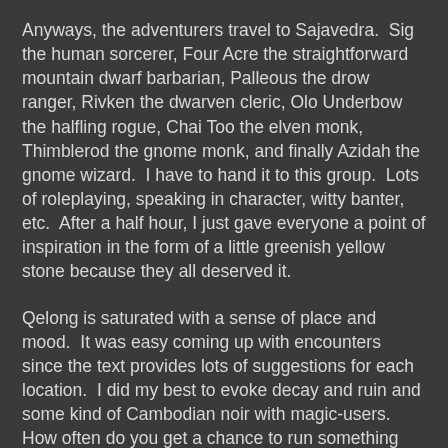Anyways, the adventurers travel to Sajavedra. Sig the human sorcerer, Four Acre the straightforward mountain dwarf barbarian, Palleous the drow ranger, Rivken the dwarven cleric, Olo Underbow the halfling rogue, Chai Too the elven monk, Thimblerod the gnome monk, and finally Azidah the gnome wizard. I have to hand it to this group. Lots of roleplaying, speaking in character, witty banter, etc. After a half hour, I just gave everyone a point of inspiration in the form of a little greenish yellow stone because they all deserved it.
Qelong is saturated with a sense of place and mood. It was easy coming up with encounters since the text provides lots of suggestions for each location. I did my best to evoke decay and ruin and some kind of Cambodian noir with magic-users. How often do you get a chance to run something like that?
Skipping to the end, the PCs fought their most recent employer, another dangerous wizard who also wanted the cylinder rune-plate or whatever it was. Oh, they had a good reason for turning on him. He was working on a spell to